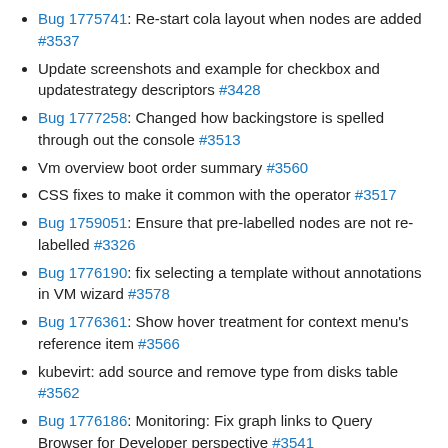Bug 1775741: Re-start cola layout when nodes are added #3537
Update screenshots and example for checkbox and updatestrategy descriptors #3428
Bug 1777258: Changed how backingstore is spelled through out the console #3513
Vm overview boot order summary #3560
CSS fixes to make it common with the operator #3517
Bug 1759051: Ensure that pre-labelled nodes are not re-labelled #3326
Bug 1776190: fix selecting a template without annotations in VM wizard #3578
Bug 1776361: Show hover treatment for context menu's reference item #3566
kubevirt: add source and remove type from disks table #3562
Bug 1776186: Monitoring: Fix graph links to Query Browser for Developer perspective #3541